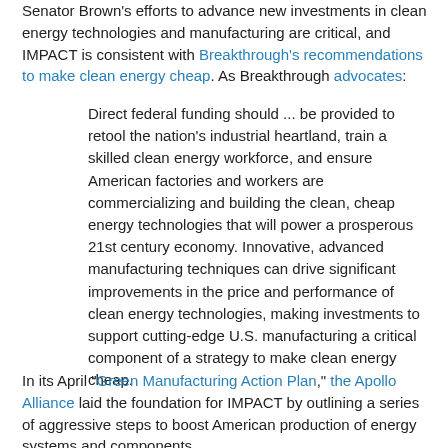Senator Brown's efforts to advance new investments in clean energy technologies and manufacturing are critical, and IMPACT is consistent with Breakthrough's recommendations to make clean energy cheap. As Breakthrough advocates:
Direct federal funding should ... be provided to retool the nation's industrial heartland, train a skilled clean energy workforce, and ensure American factories and workers are commercializing and building the clean, cheap energy technologies that will power a prosperous 21st century economy. Innovative, advanced manufacturing techniques can drive significant improvements in the price and performance of clean energy technologies, making investments to support cutting-edge U.S. manufacturing a critical component of a strategy to make clean energy cheap.
In its April "Green Manufacturing Action Plan," the Apollo Alliance laid the foundation for IMPACT by outlining a series of aggressive steps to boost American production of energy systems and components.